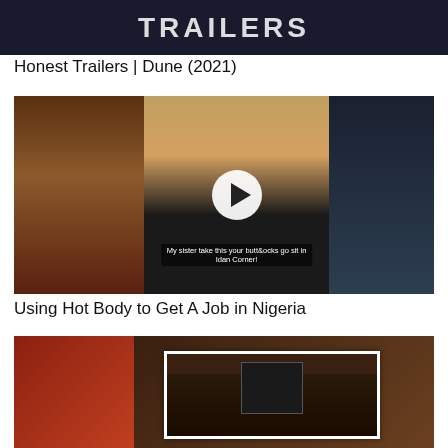[Figure (screenshot): Top portion of a video thumbnail showing 'TRAILERS' text in white bold letters on dark background]
Honest Trailers | Dune (2021)
[Figure (screenshot): Video thumbnail for 'Using Hot Body to Get A Job in Nigeria' showing three women with a play button overlay and subtitle text]
Using Hot Body to Get A Job in Nigeria
[Figure (screenshot): Partially visible video thumbnail at the bottom of the page showing an indoor scene with framed photo]